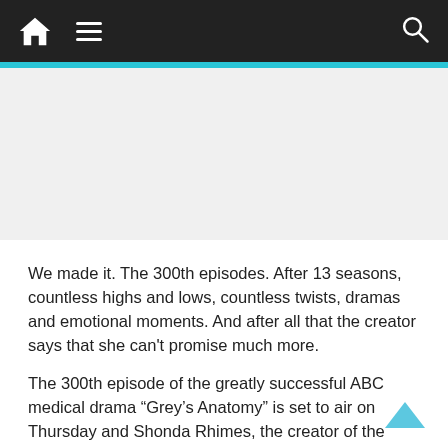Navigation bar with home, menu, and search icons
[Figure (other): Advertisement or blank placeholder area below the navigation bar]
We made it. The 300th episodes. After 13 seasons, countless highs and lows, countless twists, dramas and emotional moments. And after all that the creator says that she can't promise much more.
The 300th episode of the greatly successful ABC medical drama "Grey's Anatomy" is set to air on Thursday and Shonda Rhimes, the creator of the show, told E! that the main lead of the show, Ellen Pompeo doesn't want to continue her role of Meredith Grey.